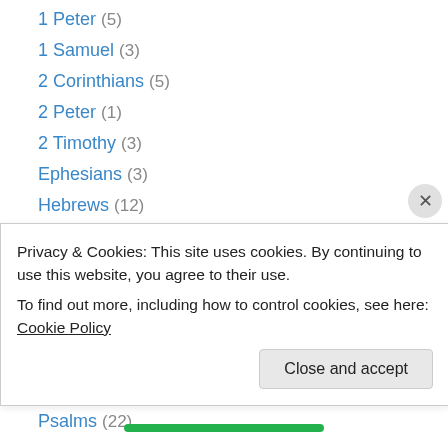1 Peter (5)
1 Samuel (3)
2 Corinthians (5)
2 Peter (1)
2 Timothy (3)
Ephesians (3)
Hebrews (12)
Isaiah (12)
James (2)
John (18)
Luke (4)
Matthew (12)
Proverbs (7)
Psalms (22+)
Privacy & Cookies: This site uses cookies. By continuing to use this website, you agree to their use.
To find out more, including how to control cookies, see here: Cookie Policy